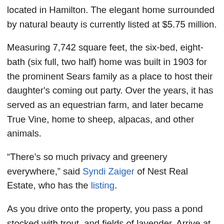located in Hamilton. The elegant home surrounded by natural beauty is currently listed at $5.75 million.
Measuring 7,742 square feet, the six-bed, eight-bath (six full, two half) home was built in 1903 for the prominent Sears family as a place to host their daughter's coming out party. Over the years, it has served as an equestrian farm, and later became True Vine, home to sheep, alpacas, and other animals.
“There’s so much privacy and greenery everywhere,” said Syndi Zaiger of Nest Real Estate, who has the listing.
As you drive onto the property, you pass a pond stocked with trout, and fields of lavender. Arrive at the cobblestone motor court to enter the home, which combines stylish grandeur with the comforts of everyday life.
Inside, a spacious kitchen has a large center island with bar seating